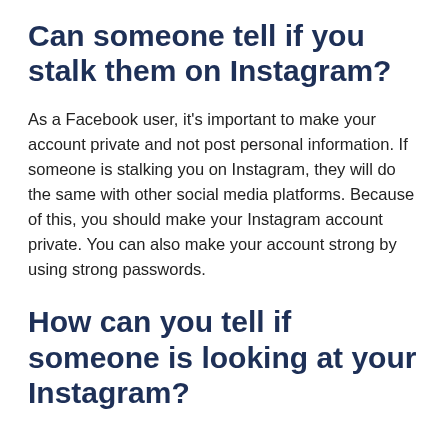Can someone tell if you stalk them on Instagram?
As a Facebook user, it’s important to make your account private and not post personal information. If someone is stalking you on Instagram, they will do the same with other social media platforms. Because of this, you should make your Instagram account private. You can also make your account strong by using strong passwords.
How can you tell if someone is looking at your Instagram?